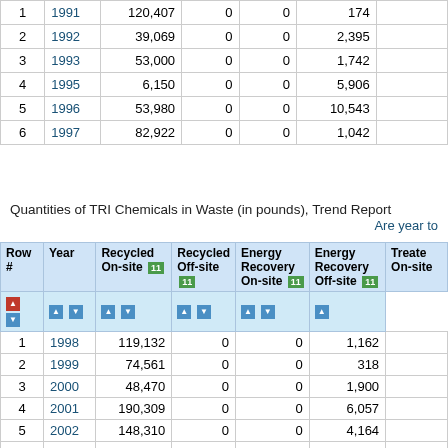| Row # | Year | Recycled On-site | Recycled Off-site | Energy Recovery On-site | Energy Recovery Off-site | Treated On-site |
| --- | --- | --- | --- | --- | --- | --- |
| 1 | 1991 | 120,407 | 0 | 0 | 174 |  |
| 2 | 1992 | 39,069 | 0 | 0 | 2,395 |  |
| 3 | 1993 | 53,000 | 0 | 0 | 1,742 |  |
| 4 | 1995 | 6,150 | 0 | 0 | 5,906 |  |
| 5 | 1996 | 53,980 | 0 | 0 | 10,543 |  |
| 6 | 1997 | 82,922 | 0 | 0 | 1,042 |  |
Quantities of TRI Chemicals in Waste (in pounds), Trend Report
Are year to
| Row # | Year | Recycled On-site | Recycled Off-site | Energy Recovery On-site | Energy Recovery Off-site | Treated On-site |
| --- | --- | --- | --- | --- | --- | --- |
| 1 | 1998 | 119,132 | 0 | 0 | 1,162 |  |
| 2 | 1999 | 74,561 | 0 | 0 | 318 |  |
| 3 | 2000 | 48,470 | 0 | 0 | 1,900 |  |
| 4 | 2001 | 190,309 | 0 | 0 | 6,057 |  |
| 5 | 2002 | 148,310 | 0 | 0 | 4,164 |  |
| 6 | 2003 | 78,097 | 0 | 0 | 4,249 |  |
| 7 | 2004 | 62,212 | 0 | 0 | 3,410 |  |
| 8 | 2005 | 79,219 | 0 | 0 | 2,066 |  |